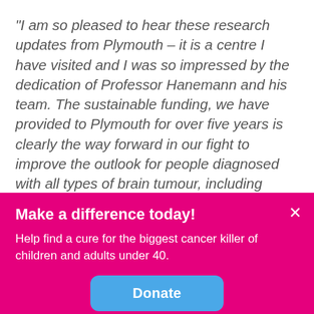“I am so pleased to hear these research updates from Plymouth – it is a centre I have visited and I was so impressed by the dedication of Professor Hanemann and his team. The sustainable funding, we have provided to Plymouth for over five years is clearly the way forward in our fight to improve the outlook for people diagnosed with all types of brain tumour, including Meningioma”
Caprice became a part of the Brain Tumour
Make a difference today!
Help find a cure for the biggest cancer killer of children and adults under 40.
Donate